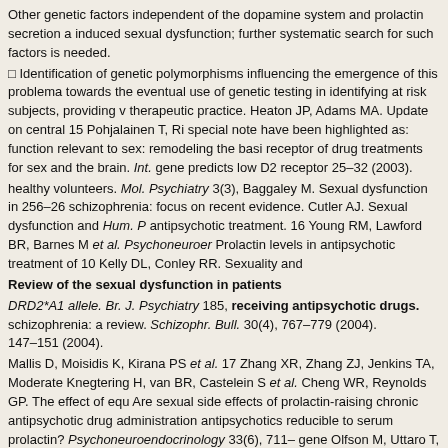Other genetic factors independent of the dopamine system and prolactin secretion a induced sexual dysfunction; further systematic search for such factors is needed.
□ Identification of genetic polymorphisms influencing the emergence of this problema towards the eventual use of genetic testing in identifying at risk subjects, providing v therapeutic practice. Heaton JP, Adams MA. Update on central 15 Pohjalainen T, Ri special note have been highlighted as: function relevant to sex: remodeling the basi receptor of drug treatments for sex and the brain. Int. gene predicts low D2 receptor 25–32 (2003).
healthy volunteers. Mol. Psychiatry 3(3), Baggaley M. Sexual dysfunction in 256–26 schizophrenia: focus on recent evidence. Cutler AJ. Sexual dysfunction and Hum. P antipsychotic treatment. 16 Young RM, Lawford BR, Barnes M et al. Psychoneuroer Prolactin levels in antipsychotic treatment of 10 Kelly DL, Conley RR. Sexuality and
Review of the sexual dysfunction in patients
DRD2*A1 allele. Br. J. Psychiatry 185, receiving antipsychotic drugs. schizophrenia: a review. Schizophr. Bull. 30(4), 767–779 (2004). 147–151 (2004).
Mallis D, Moisidis K, Kirana PS et al. 17 Zhang XR, Zhang ZJ, Jenkins TA, Moderate Knegtering H, van BR, Castelein S et al. Cheng WR, Reynolds GP. The effect of equ Are sexual side effects of prolactin-raising chronic antipsychotic drug administration antipsychotics reducible to serum prolactin? Psychoneuroendocrinology 33(6), 711– gene Olfson M, Uttaro T, Carson WH, Tafesse E. expression in rat penile tissues. Eu life in Neuropsychopharmacol. 20(4), 211–217 schizophrenia. J. Clin. Psychiatry 66 M, 331–338 (2005).
Levander S. Prolactin level during 5 years of risperidone treatment in patients with 1 Perkins DO. Predictors of noncompliance in psychotic disorders. Acta Psychiatr. S